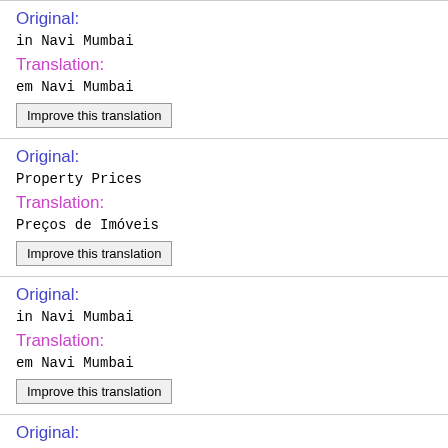Original:
in Navi Mumbai
Translation:
em Navi Mumbai
Improve this translation
Original:
Property Prices
Translation:
Preços de Imóveis
Improve this translation
Original:
in Navi Mumbai
Translation:
em Navi Mumbai
Improve this translation
Original:
Quality of Life
Translation:
Qualidade de Vida